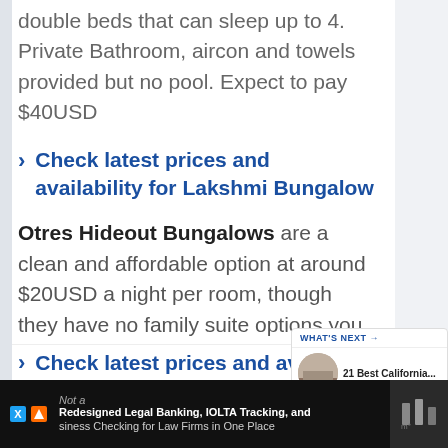double beds that can sleep up to 4. Private Bathroom, aircon and towels provided but no pool. Expect to pay $40USD
> Check latest prices and availability for Lakshmi Bungalow
Otres Hideout Bungalows are a clean and affordable option at around $20USD a night per room, though they have no family suite options you would need two bungalow rooms. No pool and no airconditioning but private bathroom and towels.
> Check latest prices and availability for
Not a
Redesigned Legal Banking, IOLTA Tracking, and Business Checking for Law Firms in One Place